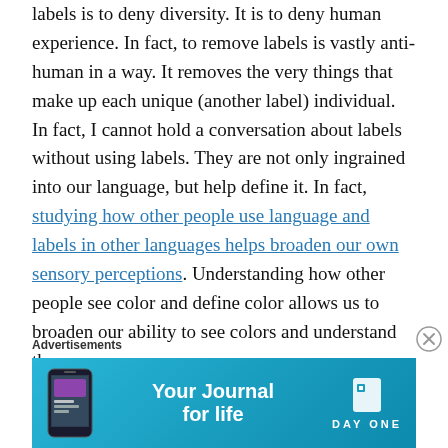labels is to deny diversity. It is to deny human experience. In fact, to remove labels is vastly anti-human in a way. It removes the very things that make up each unique (another label) individual. In fact, I cannot hold a conversation about labels without using labels. They are not only ingrained into our language, but help define it. In fact, studying how other people use language and labels in other languages helps broaden our own sensory perceptions. Understanding how other people see color and define color allows us to broaden our ability to see colors and understand them.
Advertisements
[Figure (other): Advertisement banner for Day One app — 'Your Journal for life' with teal/blue gradient background, phone image on left, Day One logo on right]